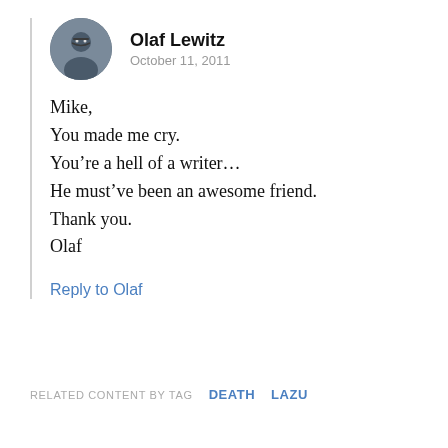[Figure (photo): Circular avatar photo of Olaf Lewitz, a man with long hair and glasses]
Olaf Lewitz
October 11, 2011
Mike,
You made me cry.
You’re a hell of a writer…
He must’ve been an awesome friend.
Thank you.
Olaf
Reply to Olaf
RELATED CONTENT BY TAG   DEATH   LAZU